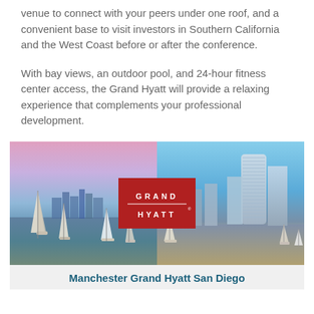venue to connect with your peers under one roof, and a convenient base to visit investors in Southern California and the West Coast before or after the conference.
With bay views, an outdoor pool, and 24-hour fitness center access, the Grand Hyatt will provide a relaxing experience that complements your professional development.
[Figure (photo): Composite image showing San Diego bay with sailboats on the left and modern skyscrapers/marina on the right, with a Grand Hyatt red logo box centered over the image.]
Manchester Grand Hyatt San Diego